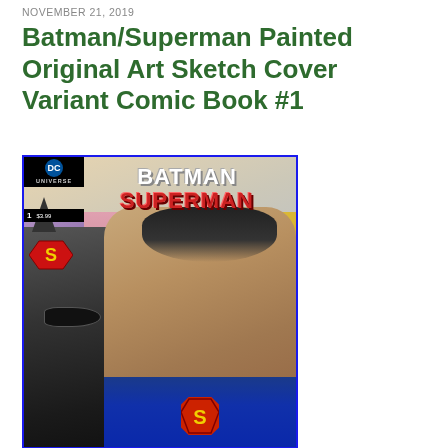NOVEMBER 21, 2019
Batman/Superman Painted Original Art Sketch Cover Variant Comic Book #1
[Figure (illustration): Comic book cover of Batman/Superman #1. Shows painted original art depicting Batman's dark masked face on the left and Superman's face on the right with the 'S' logo on his chest. DC Universe logo in top-left corner. Title 'BATMAN SUPERMAN' displayed prominently at top in stylized lettering. Background has purple, pink, and yellow hues.]